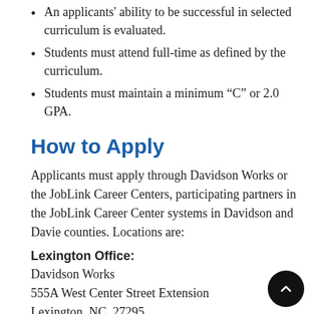An applicants' ability to be successful in selected curriculum is evaluated.
Students must attend full-time as defined by the curriculum.
Students must maintain a minimum “C” or 2.0 GPA.
How to Apply
Applicants must apply through Davidson Works or the JobLink Career Centers, participating partners in the JobLink Career Center systems in Davidson and Davie counties. Locations are:
Lexington Office:
Davidson Works
555A West Center Street Extension
Lexington, NC  27295
336-242-2065